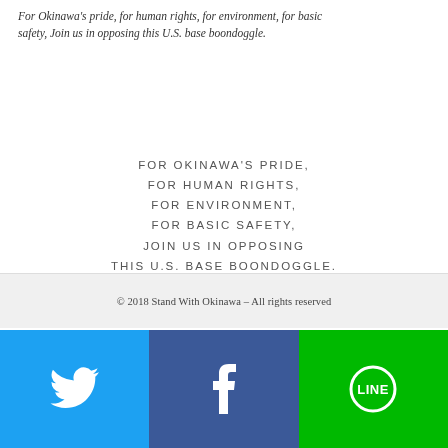For Okinawa's pride, for human rights, for environment, for basic safety, Join us in opposing this U.S. base boondoggle.
[Figure (logo): Twitter and YouTube social media icons/buttons in header area]
FOR OKINAWA'S PRIDE, FOR HUMAN RIGHTS, FOR ENVIRONMENT, FOR BASIC SAFETY, JOIN US IN OPPOSING THIS U.S. BASE BOONDOGGLE.
© 2018 Stand With Okinawa – All rights reserved
[Figure (infographic): Social media footer bar with three sections: Twitter (blue), Facebook (dark blue), LINE (green) each with white icons]